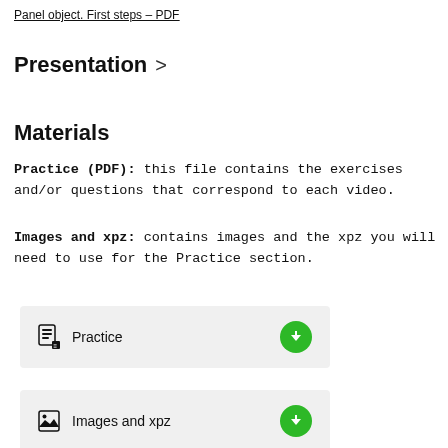Panel object. First steps – PDF
Presentation >
Materials
Practice (PDF): this file contains the exercises and/or questions that correspond to each video.
Images and xpz: contains images and the xpz you will need to use for the Practice section.
[Figure (other): Download button row for Practice file with document icon and green download button]
[Figure (other): Download button row for Images and xpz file with image icon and green download button]